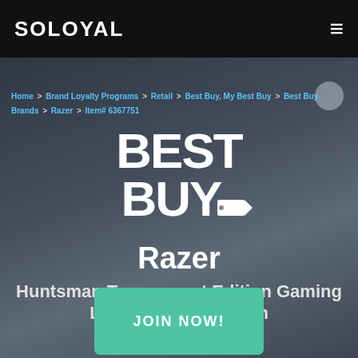SOLOYAL
Home > Brand Loyalty Programs > Retail > Best Buy, My Best Buy > Best Buy Brands > Razer > Item# 6367751
[Figure (logo): Best Buy logo with tag mark, white text on dark background]
Razer
Huntsman Tournament Edition Gaming Linear Optical Switch
[Figure (infographic): JOIN NOW! button in teal/green color]